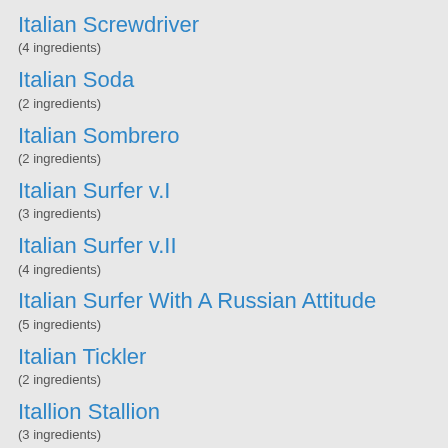Italian Screwdriver
(4 ingredients)
Italian Soda
(2 ingredients)
Italian Sombrero
(2 ingredients)
Italian Surfer v.I
(3 ingredients)
Italian Surfer v.II
(4 ingredients)
Italian Surfer With A Russian Attitude
(5 ingredients)
Italian Tickler
(2 ingredients)
Itallion Stallion
(3 ingredients)
Izayoi
(5 ingredients)